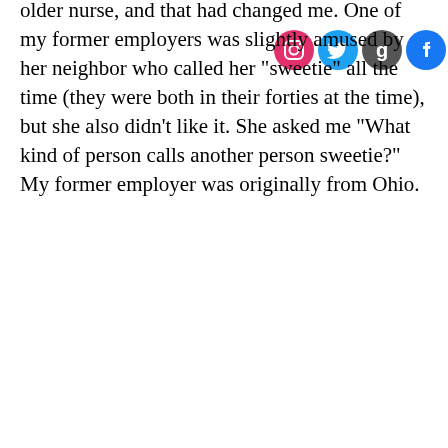older nurse, and that had changed me. One of my former employers was slightly amused by her neighbor who called her "sweetie" all the time (they were both in their forties at the time), but she also didn't like it. She asked me "What kind of person calls another person sweetie?" My former employer was originally from Ohio.
KarenS
[Figure (photo): Circular avatar image with colorful mosaic pattern]
Angiegirl · 9:57 AM
I can see that.

Yeah, when they're younger makes total sense to me. It's just weird and somewhat disrespectful. I talked with